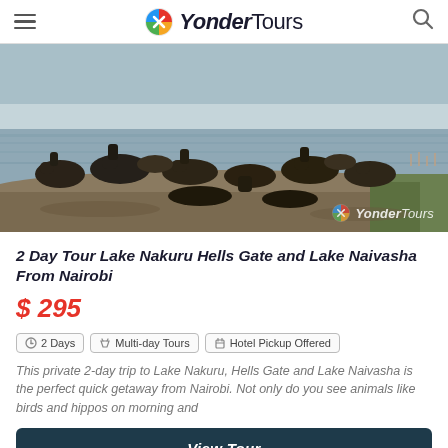YonderTours
[Figure (photo): Herd of buffalo/wildebeest wading through water at Lake Nakuru, Kenya, with watermark 'YonderTours' in bottom right]
2 Day Tour Lake Nakuru Hells Gate and Lake Naivasha From Nairobi
$ 295
2 Days
Multi-day Tours
Hotel Pickup Offered
This private 2-day trip to Lake Nakuru, Hells Gate and Lake Naivasha is the perfect quick getaway from Nairobi. Not only do you see animals like birds and hippos on morning and
View Tour